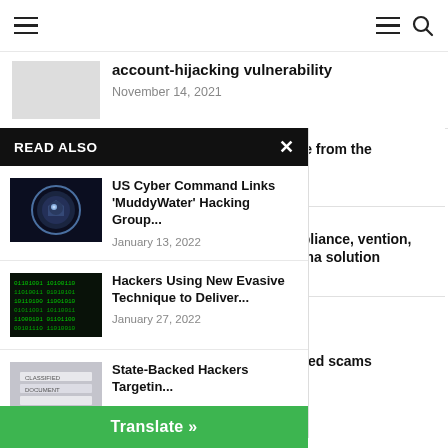Navigation bar with hamburger menus and search icon
account-hijacking vulnerability
November 14, 2021
READ ALSO
[Figure (photo): US Cyber Command logo/badge on dark blue background]
US Cyber Command Links 'MuddyWater' Hacking Group...
January 13, 2022
[Figure (photo): Green code on dark screen background]
Hackers Using New Evasive Technique to Deliver...
January 27, 2022
[Figure (photo): State-backed hackers image with file folders]
State-Backed Hackers Targetin...
rs warn of darkverse from the metaverse
22
dds new SaaS compliance, vention, URL filtering o Prisma solution
22
ains the most-spoofed scams
Translate »